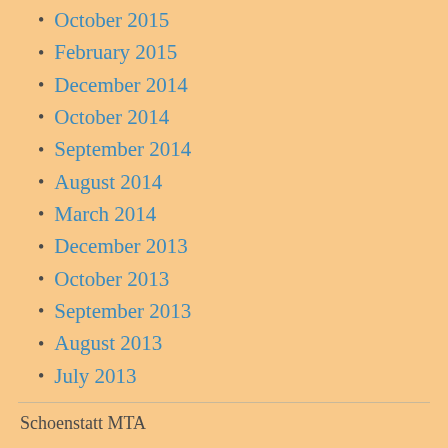October 2015
February 2015
December 2014
October 2014
September 2014
August 2014
March 2014
December 2013
October 2013
September 2013
August 2013
July 2013
Schoenstatt MTA